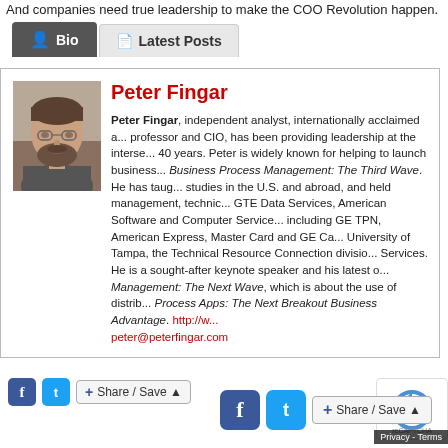And companies need true leadership to make the COO Revolution happen.
Bio | Latest Posts
[Figure (photo): Portrait photo of Peter Fingar, a middle-aged man with a beard and glasses]
Peter Fingar
Peter Fingar, independent analyst, internationally acclaimed author, professor and CIO, has been providing leadership at the intersection of business and technology for over 40 years. Peter is widely known for helping to launch business process management with his book Business Process Management: The Third Wave. He has taught graduate studies in the U.S. and abroad, and held management, technical and CIO positions at GTE Data Services, American Software and Computer Services, and companies including GE TPN, American Express, Master Card and GE Capital. He was CIO at University of Tampa, the Technical Resource Connection division of Xerox Business Services. He is a sought-after keynote speaker and his latest book is Digital Business Management: The Next Wave, which is about the use of distributed apps, and Digital Process Apps: The Next Breakout Business Advantage. http://w... peter@peterfingar.com
Share / Save
Share / Save
Privacy - Terms